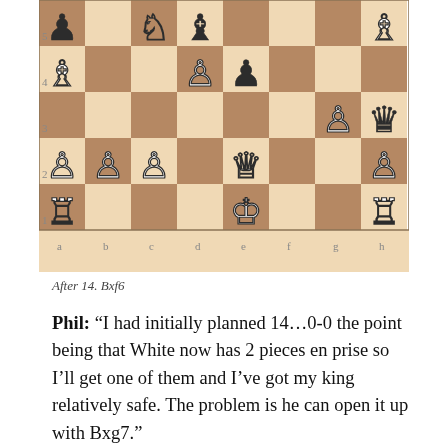[Figure (illustration): Chess board diagram showing a position after move 14. Bxf6, with various white and black pieces including pawns, rooks, queens, knights, and bishops on a standard 8x8 chessboard with rank numbers 1-5 visible on the left side and file letters a-g visible on the bottom.]
After 14. Bxf6
Phil: “I had initially planned 14…0-0 the point being that White now has 2 pieces en prise so I’ll get one of them and I’ve got my king relatively safe. The problem is he can open it up with Bxg7.”